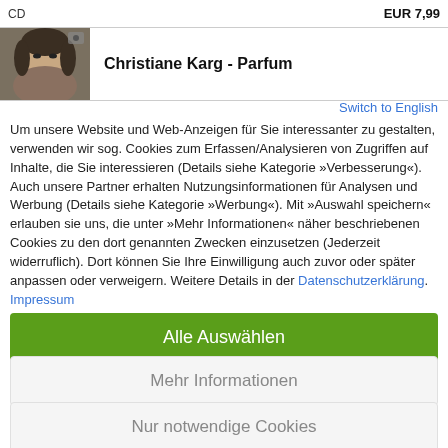CD  EUR 7,99
Christiane Karg - Parfum
Switch to English
Um unsere Website und Web-Anzeigen für Sie interessanter zu gestalten, verwenden wir sog. Cookies zum Erfassen/Analysieren von Zugriffen auf Inhalte, die Sie interessieren (Details siehe Kategorie »Verbesserung«). Auch unsere Partner erhalten Nutzungsinformationen für Analysen und Werbung (Details siehe Kategorie »Werbung«). Mit »Auswahl speichern« erlauben sie uns, die unter »Mehr Informationen« näher beschriebenen Cookies zu den dort genannten Zwecken einzusetzen (Jederzeit widerruflich). Dort können Sie Ihre Einwilligung auch zuvor oder später anpassen oder verweigern. Weitere Details in der Datenschutzerklärung. Impressum
Verbesserung
Alle Auswählen
Mehr Informationen
Nur notwendige Cookies